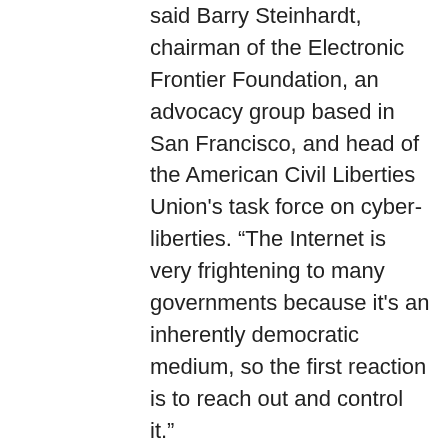said Barry Steinhardt, chairman of the Electronic Frontier Foundation, an advocacy group based in San Francisco, and head of the American Civil Liberties Union's task force on cyber-liberties. “The Internet is very frightening to many governments because it's an inherently democratic medium, so the first reaction is to reach out and control it.”
At least 20 countries restrict access to Internet sites, from Bahrain, which bans electronic versions of Playboy magazine and home pages that the government says are pornographic, to Singapore, where the Ministry of Information and the Arts keeps out sexually explicit material and news critical of the government.
More than a dozen other countries are considering restrictions. The European Union,